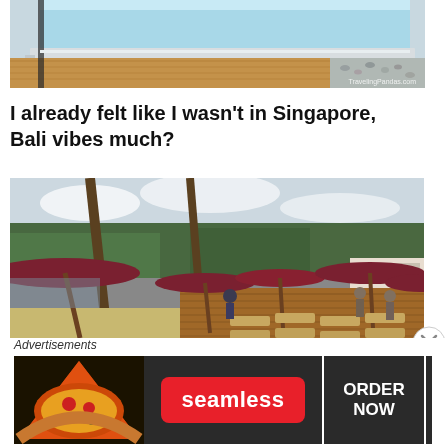[Figure (photo): Top portion of a pool with light blue water, white tiled surround, and wooden deck with pebbles. Watermark reads 'TravelingPandas.com'.]
I already felt like I wasn't in Singapore, Bali vibes much?
[Figure (photo): Outdoor beach club scene with dark red/maroon parasols, wooden deck, lounge chairs, palm trees, sandy beach, and overcast sky. People relaxing and walking around.]
Advertisements
[Figure (other): Seamless food delivery advertisement banner with pizza image on left, Seamless red logo in center, and 'ORDER NOW' button on right, all on dark background.]